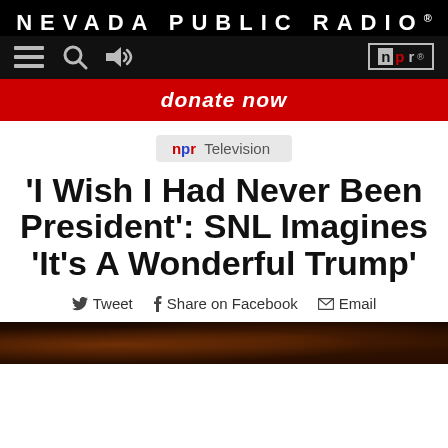NEVADA PUBLIC RADIO®
[Figure (logo): Nevada Public Radio navigation bar with menu, search, audio icons and NPR logo box]
donate now
npr Television
'I Wish I Had Never Been President': SNL Imagines 'It's A Wonderful Trump'
Tweet  Share on Facebook  Email
[Figure (photo): Dark background image, bottom strip of article photo]